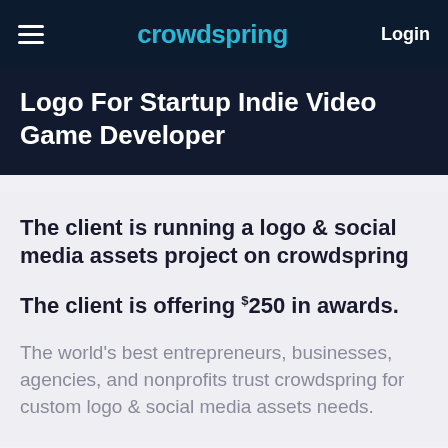crowdspring | Login
Logo For Startup Indie Video Game Developer
The client is running a logo & social media assets project on crowdspring
The client is offering $250 in awards.
The world's best entrepreneurs, businesses, agencies, and nonprofits trust crowdspring for custom logo & social media assets needs.